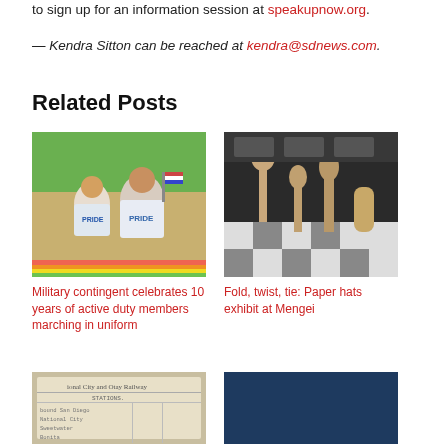to sign up for an information session at speakupnow.org.
— Kendra Sitton can be reached at kendra@sdnews.com.
Related Posts
[Figure (photo): Photo of people in PRIDE t-shirts at a parade, waving rainbow flags and American flags]
Military contingent celebrates 10 years of active duty members marching in uniform
[Figure (photo): Museum exhibit photo showing paper hat sculptures and figures on a black-and-white checkered floor in a dark gallery]
Fold, twist, tie: Paper hats exhibit at Mengei
[Figure (photo): Old National City and Otay Railway timetable document showing station names including San Diego, National City, Sweetwater, Bonita]
[Figure (photo): Dark navy blue image, partially visible, related posts thumbnail]